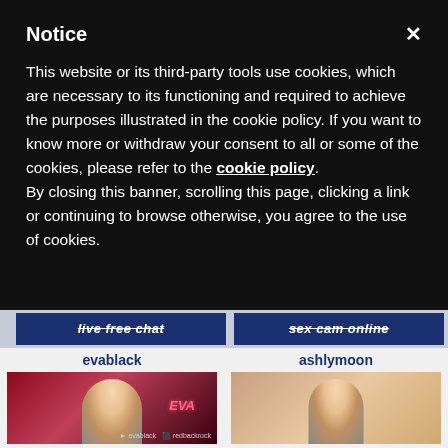Notice
This website or its third-party tools use cookies, which are necessary to its functioning and required to achieve the purposes illustrated in the cookie policy. If you want to know more or withdraw your consent to all or some of the cookies, please refer to the cookie policy.
By closing this banner, scrolling this page, clicking a link or continuing to browse otherwise, you agree to the use of cookies.
live free chat
sex cam online
evablack
[Figure (photo): Thumbnail photo of evablack, a blonde woman in a white blouse with a neon 'EVA' sign in the background, dark red lighting]
ashlymoon
[Figure (photo): Thumbnail photo of ashlymoon, a tattooed woman in a white bikini top, bright living room background with plants and a gaming chair]